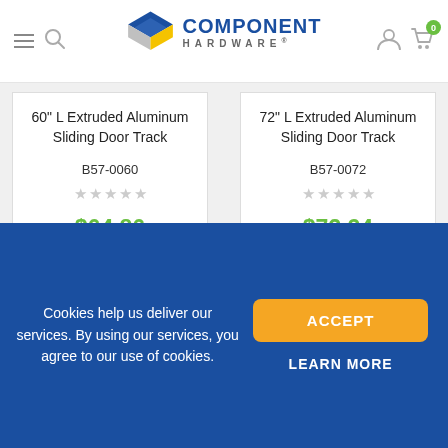Component Hardware — navigation header with logo, hamburger menu, search, user and cart icons
60" L Extruded Aluminum Sliding Door Track
B57-0060
$64.86
72" L Extruded Aluminum Sliding Door Track
B57-0072
$73.24
Cookies help us deliver our services. By using our services, you agree to our use of cookies.
ACCEPT
LEARN MORE